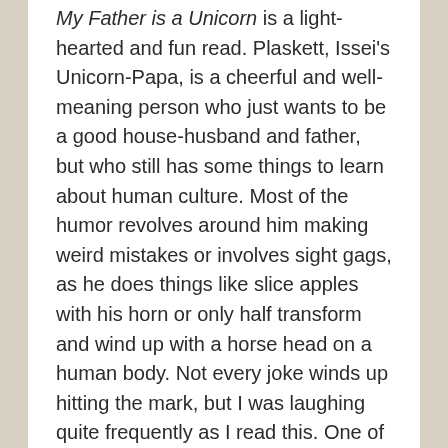My Father is a Unicorn is a light-hearted and fun read. Plaskett, Issei's Unicorn-Papa, is a cheerful and well-meaning person who just wants to be a good house-husband and father, but who still has some things to learn about human culture. Most of the humor revolves around him making weird mistakes or involves sight gags, as he does things like slice apples with his horn or only half transform and wind up with a horse head on a human body. Not every joke winds up hitting the mark, but I was laughing quite frequently as I read this. One of my favourite parts in the manga involves Issei trying to look up information about unicorns on the internet. He reads an old myth that states that unicorns are attracted only to maidens and will stab a girl to death if she lies to them about being a virgin. Issei is briefly panicked over the thought that Plaskett thinks his mom is a